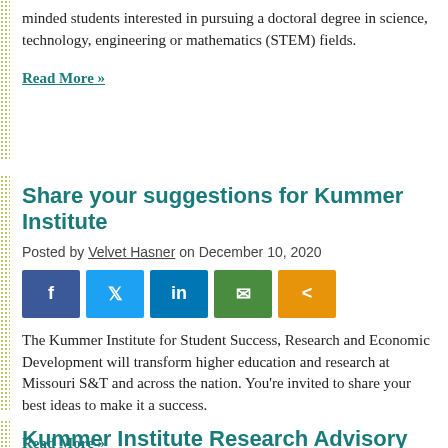minded students interested in pursuing a doctoral degree in science, technology, engineering or mathematics (STEM) fields.
Read More »
Share your suggestions for Kummer Institute
Posted by Velvet Hasner on December 10, 2020
[Figure (other): Social share buttons: Facebook, Twitter, LinkedIn, Email, Share]
The Kummer Institute for Student Success, Research and Economic Development will transform higher education and research at Missouri S&T and across the nation. You're invited to share your best ideas to make it a success.
Read More »
Kummer Institute Research Advisory